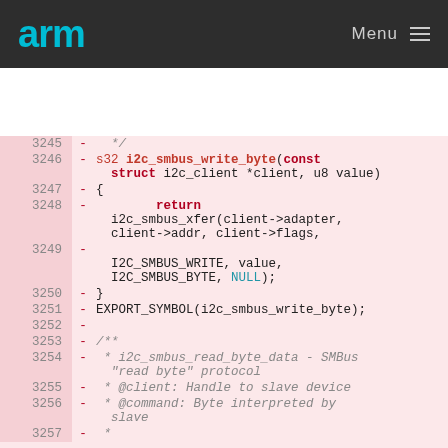arm  Menu
[Figure (screenshot): Code diff view showing lines 3245-3257 of i2c smbus functions, with pink background indicating removed lines. Lines include i2c_smbus_write_byte function definition, body with return i2c_smbus_xfer call, EXPORT_SYMBOL macro, and beginning of i2c_smbus_read_byte_data documentation comment.]